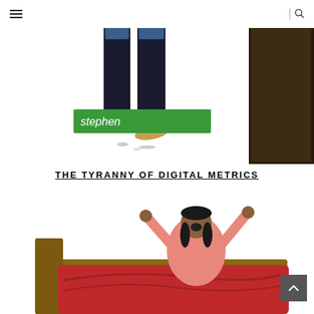[Figure (illustration): Partial illustration showing a person's legs/feet walking, with a green label bar reading 'stephen' in white text, and a dark door/wall on the right side.]
THE TYRANNY OF DIGITAL METRICS
[Figure (illustration): Illustration of a person with arms raised sitting up in bed, appearing to just wake up, with red bedding and a wooden headboard.]